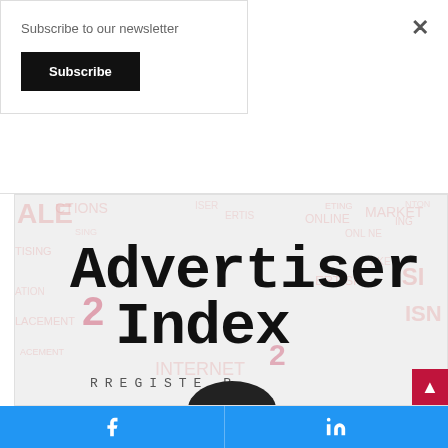Subscribe to our newsletter
Subscribe
[Figure (illustration): Advertiser Index promotional image with typewriter-style text reading 'Advertiser Index' over a word cloud background with advertising terms, with a circular logo element at the bottom showing 'RREGISTER']
f
in